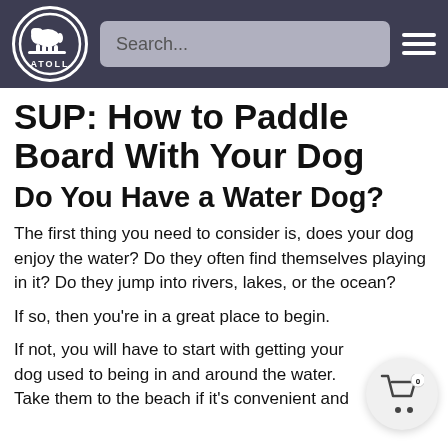ATOLL — Search... [hamburger menu]
SUP: How to Paddle Board With Your Dog
Do You Have a Water Dog?
The first thing you need to consider is, does your dog enjoy the water? Do they often find themselves playing in it? Do they jump into rivers, lakes, or the ocean?
If so, then you're in a great place to begin.
If not, you will have to start with getting your dog used to being in and around the water. Take them to the beach if it's convenient and